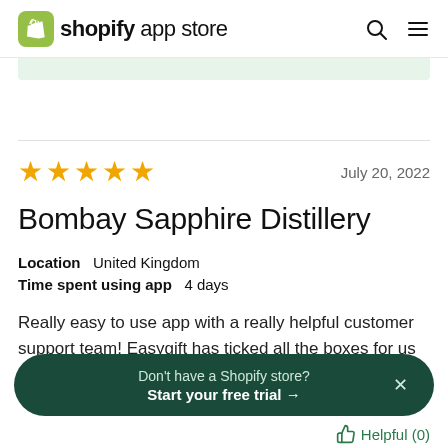shopify app store
[Figure (screenshot): Green strip at top of page]
Bombay Sapphire Distillery
★★★★★  July 20, 2022
Location  United Kingdom
Time spent using app  4 days
Really easy to use app with a really helpful customer support team! Easygift has ticked all the boxes for us
Don't have a Shopify store?
Start your free trial →
Helpful (0)